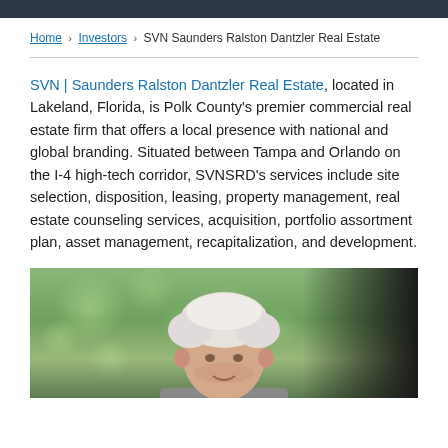Home > Investors > SVN Saunders Ralston Dantzler Real Estate
SVN | Saunders Ralston Dantzler Real Estate, located in Lakeland, Florida, is Polk County's premier commercial real estate firm that offers a local presence with national and global branding. Situated between Tampa and Orlando on the I-4 high-tech corridor, SVNSRD's services include site selection, disposition, leasing, property management, real estate counseling services, acquisition, portfolio assortment plan, asset management, recapitalization, and development.
[Figure (photo): Portrait photo of an elderly white-haired man outdoors with blurred green bokeh background]